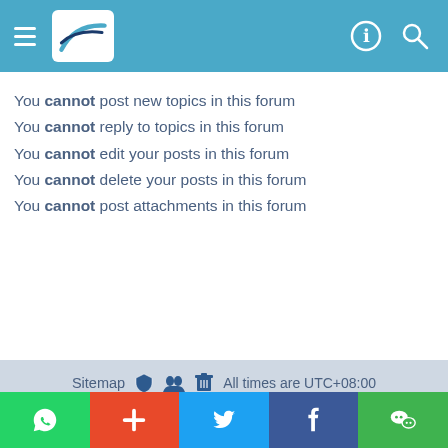Forum header with logo and navigation icons
You cannot post new topics in this forum
You cannot reply to topics in this forum
You cannot edit your posts in this forum
You cannot delete your posts in this forum
You cannot post attachments in this forum
Sitemap  [icons]  All times are UTC+08:00
[Figure (other): Social media sharing bar with WhatsApp, Plus, Twitter, Facebook, WeChat buttons]